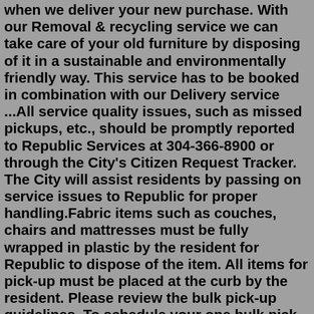when we deliver your new purchase. With our Removal & recycling service we can take care of your old furniture by disposing of it in a sustainable and environmentally friendly way. This service has to be booked in combination with our Delivery service ...All service quality issues, such as missed pickups, etc., should be promptly reported to Republic Services at 304-366-8900 or through the City's Citizen Request Tracker. The City will assist residents by passing on service issues to Republic for proper handling.Fabric items such as couches, chairs and mattresses must be fully wrapped in plastic by the resident for Republic to dispose of the item. All items for pick-up must be placed at the curb by the resident. Please review the bulk pick-up guidelines. To schedule your one bulk pick-up per month call 1-800-543-1339 or 937-268-8110.Republic Services Media Room. For Customers: Email the Customer Experience team, and include account details. For Media: Email the Republic Services media relations team, and include story topic and deadline. Yahoo! Finance: America's trash flow